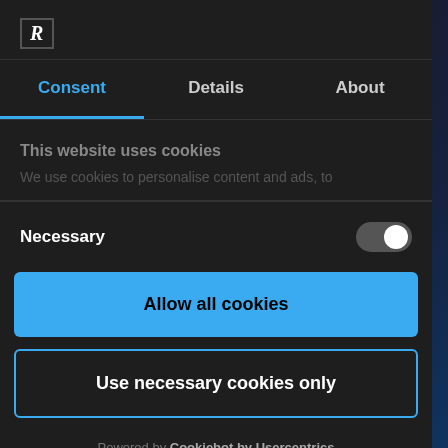[Figure (screenshot): Website cookie consent modal dialog with logo, tabs (Consent, Details, About), necessary toggle, and action buttons on dark background]
R
Consent
Details
About
This website uses cookies
We use cookies to personalise content and ads, to
Necessary
Allow all cookies
Use necessary cookies only
Powered by Cookiebot by Usercentrics